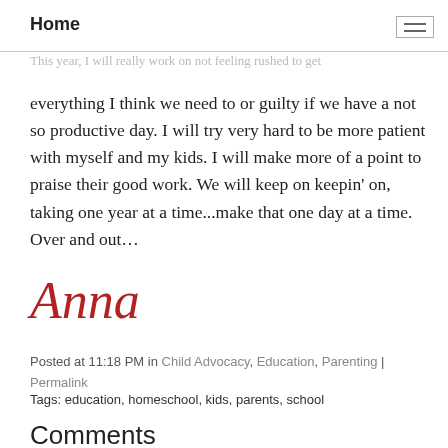Home
This year, I will really work on not feeling rushed to get everything I think we need to or guilty if we have a not so productive day. I will try very hard to be more patient with myself and my kids. I will make more of a point to praise their good work. We will keep on keepin' on, taking one year at a time...make that one day at a time. Over and out…
Anna
Posted at 11:18 PM in Child Advocacy, Education, Parenting | Permalink
Tags: education, homeschool, kids, parents, school
Comments